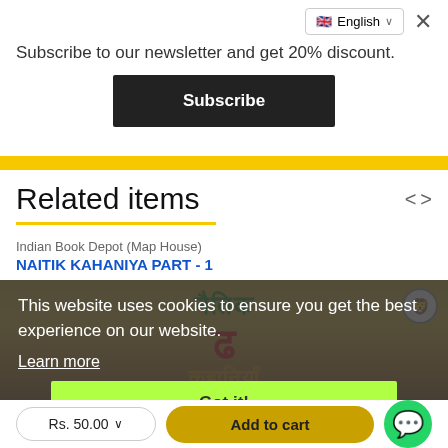Subscribe to our newsletter and get 20% discount.
Subscribe
Related items
Indian Book Depot (Map House)
NAITIK KAHANIYA PART - 1
[Figure (photo): Book cover of Naitik Kahaniya Part 1 with Hindi text on gold/brown background]
This website uses cookies to ensure you get the best experience on our website. Learn more
Got it!
Rs. 50.00
Add to cart